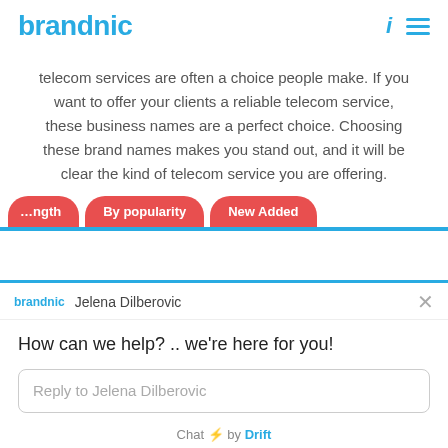brandnic
telecom services are often a choice people make. If you want to offer your clients a reliable telecom service, these business names are a perfect choice. Choosing these brand names makes you stand out, and it will be clear the kind of telecom service you are offering.
[Figure (screenshot): Drift chat widget overlay showing agent Jelena Dilberovic, message 'How can we help? .. we’re here for you!', reply input box, and 'Chat by Drift' footer]